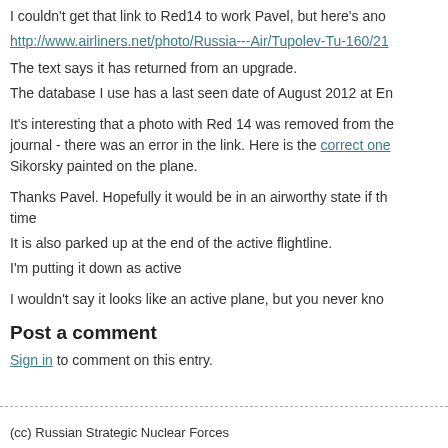I couldn't get that link to Red14 to work Pavel, but here's ano
http://www.airliners.net/photo/Russia---Air/Tupolev-Tu-160/21
The text says it has returned from an upgrade.
The database I use has a last seen date of August 2012 at En
It's interesting that a photo with Red 14 was removed from the journal - there was an error in the link. Here is the correct one Sikorsky painted on the plane.
Thanks Pavel. Hopefully it would be in an airworthy state if th time
It is also parked up at the end of the active flightline.
I'm putting it down as active
I wouldn't say it looks like an active plane, but you never kno
Post a comment
Sign in to comment on this entry.
(cc) Russian Strategic Nuclear Forces